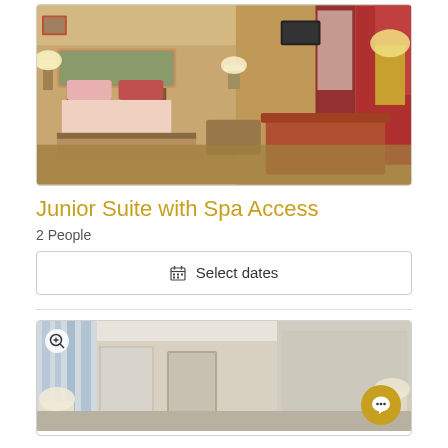[Figure (photo): Hotel junior suite room photo showing a four-poster bed with pink/red pillows, floral headboard, red curtains, patterned carpet, sitting area with sofa, wooden coffee table, and warm lighting]
Junior Suite with Spa Access
2 People
Select dates
[Figure (photo): Hotel room photo showing a classic-style room with light-colored decor, white ceiling, sheer blue-striped curtains, elegant wallpaper, lamps, and a view toward the entrance/foyer area]